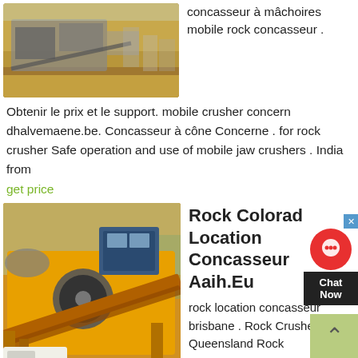[Figure (photo): Outdoor photo of a mobile rock crusher machine at a construction or mining site with sandy/dusty terrain and machinery in background]
concasseur à mâchoires mobile rock concasseur .
Obtenir le prix et le support. mobile crusher concern dhalvemaene.be. Concasseur à cône Concerne . for rock crusher Safe operation and use of mobile jaw crushers . India from
get price
[Figure (photo): Close-up photo of a large yellow mobile rock crusher / jaw crusher machine with conveyor belt, industrial equipment]
Rock Colorado Location Concasseur Aaih.Eu
rock location concasseur brisbane . Rock Crusher Queensland Rock Crusher Located In Brisbane, Queensland (qld) you want to buy rock crusher locally, without wasting time traveling? search for your location and find the right